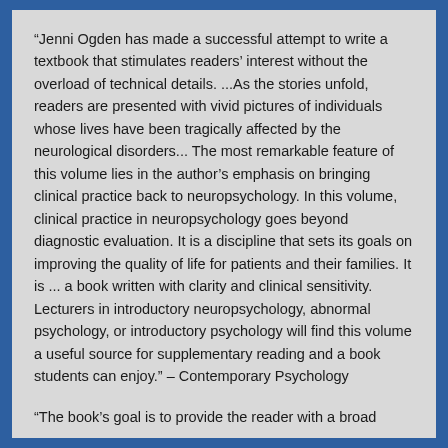“Jenni Ogden has made a successful attempt to write a textbook that stimulates readers’ interest without the overload of technical details. ...As the stories unfold, readers are presented with vivid pictures of individuals whose lives have been tragically affected by the neurological disorders... The most remarkable feature of this volume lies in the author’s emphasis on bringing clinical practice back to neuropsychology. In this volume, clinical practice in neuropsychology goes beyond diagnostic evaluation. It is a discipline that sets its goals on improving the quality of life for patients and their families. It is ... a book written with clarity and clinical sensitivity. Lecturers in introductory neuropsychology, abnormal psychology, or introductory psychology will find this volume a useful source for supplementary reading and a book students can enjoy.” – Contemporary Psychology
“The book’s goal is to provide the reader with a broad